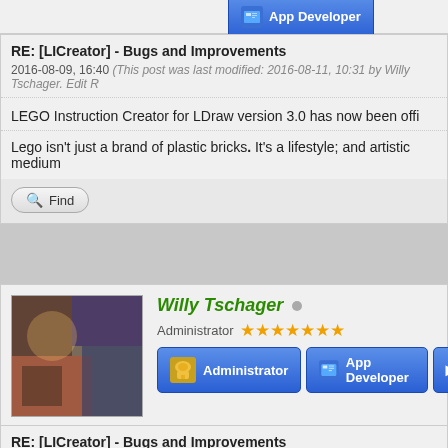[Figure (screenshot): App Developer badge button (blue, partial, top of page)]
RE: [LICreator] - Bugs and Improvements
2016-08-09, 16:40 (This post was last modified: 2016-08-11, 10:31 by Willy Tschager. Edit R
LEGO Instruction Creator for LDraw version 3.0 has now been offi
Lego isn't just a brand of plastic bricks. It's a lifestyle; and artistic medium
Find
[Figure (photo): Avatar photo of Willy Tschager]
Willy Tschager
Administrator ★★★★★★★
[Figure (screenshot): Administrator and App Developer badge buttons]
RE: [LICreator] - Bugs and Improvements
2016-08-11, 10:33
Jarema Wrote: →
LEGO Instruction Creator for LDraw version 3.0 has now been